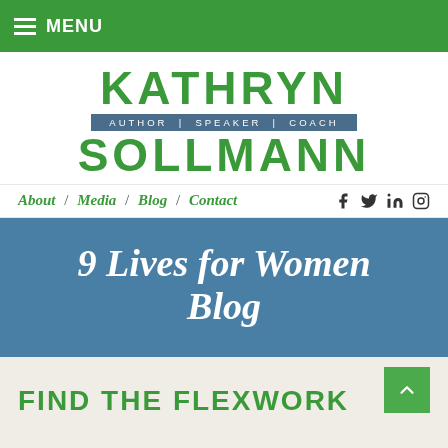MENU
KATHRYN SOLLMANN
AUTHOR | SPEAKER | COACH
About / Media / Blog / Contact
9 Lives for Women Blog
FIND THE FLEXWORK